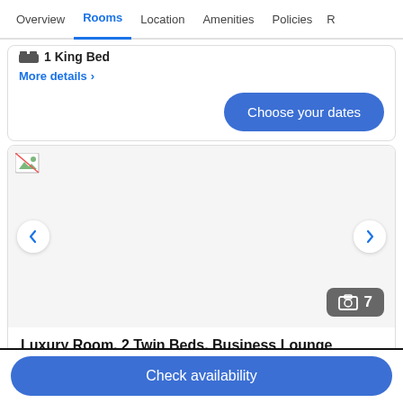Overview | Rooms | Location | Amenities | Policies | R…
1 King Bed
More details >
Choose your dates
[Figure (photo): Hotel room image placeholder (broken image icon), with left/right navigation arrows and a photo count badge showing 7 photos]
Luxury Room, 2 Twin Beds, Business Lounge Access
Check availability